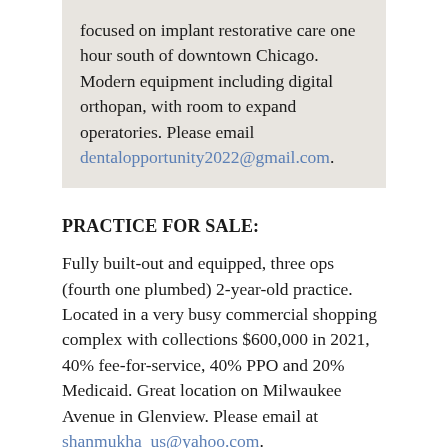focused on implant restorative care one hour south of downtown Chicago. Modern equipment including digital orthopan, with room to expand operatories. Please email dentalopportunity2022@gmail.com.
PRACTICE FOR SALE:
Fully built-out and equipped, three ops (fourth one plumbed) 2-year-old practice. Located in a very busy commercial shopping complex with collections $600,000 in 2021, 40% fee-for-service, 40% PPO and 20% Medicaid. Great location on Milwaukee Avenue in Glenview. Please email at shanmukha_us@yahoo.com.